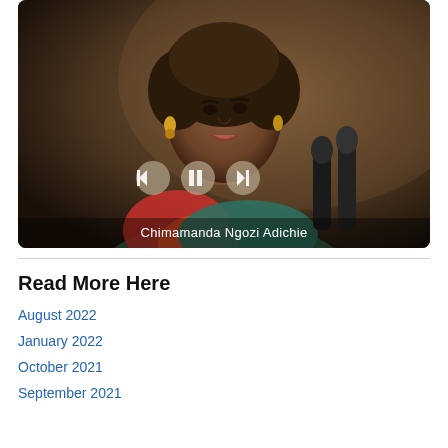[Figure (photo): Photograph of Chimamanda Ngozi Adichie speaking at a podium with microphones, wearing a colorful top. Media player controls (back, pause, forward) are overlaid. A label reads 'Chimamanda Ngozi Adichie'.]
Read More Here
August 2022
January 2022
October 2021
September 2021